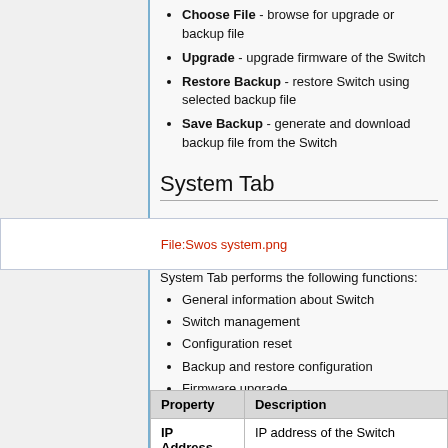Choose File - browse for upgrade or backup file
Upgrade - upgrade firmware of the Switch
Restore Backup - restore Switch using selected backup file
Save Backup - generate and download backup file from the Switch
System Tab
[Figure (screenshot): File:Swos system.png placeholder image link]
System Tab performs the following functions:
General information about Switch
Switch management
Configuration reset
Backup and restore configuration
Firmware upgrade
| Property | Description |
| --- | --- |
| IP Address | IP address of the Switch |